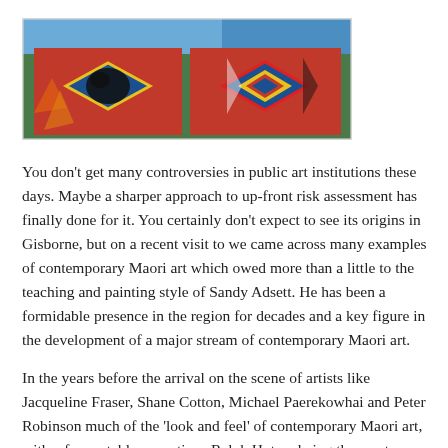[Figure (photo): Photograph of a large outdoor mural on a fence or wall, featuring two geometric diamond-pattern panels with bold colors (red, blue, yellow) in a Maori contemporary art style. The background shows a blue building and green fencing.]
You don't get many controversies in public art institutions these days. Maybe a sharper approach to up-front risk assessment has finally done for it. You certainly don't expect to see its origins in Gisborne, but on a recent visit to we came across many examples of contemporary Maori art which owed more than a little to the teaching and painting style of Sandy Adsett. He has been a formidable presence in the region for decades and a key figure in the development of a major stream of contemporary Maori art.
In the years before the arrival on the scene of artists like Jacqueline Fraser, Shane Cotton, Michael Paerekowhai and Peter Robinson much of the 'look and feel' of contemporary Maori art, with a few notable exceptions Ralph Hotere being the most obvious, was driven by artists from the East Coast of the North Island.
Their art was most typically abstracted from traditional forms and